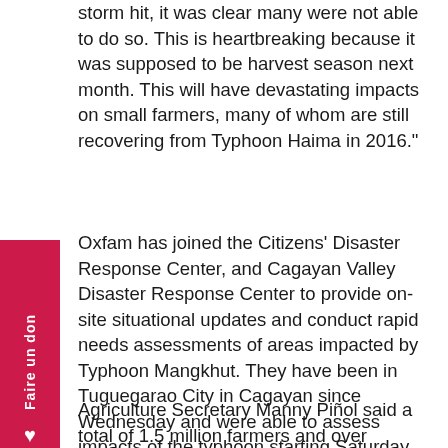storm hit, it was clear many were not able to do so. This is heartbreaking because it was supposed to be harvest season next month. This will have devastating impacts on small farmers, many of whom are still recovering from Typhoon Haima in 2016."
Oxfam has joined the Citizens' Disaster Response Center, and Cagayan Valley Disaster Response Center to provide on-site situational updates and conduct rapid needs assessments of areas impacted by Typhoon Mangkhut. They have been in Tuguegarao City in Cagayan since Wednesday and were able to assess impacts of the typhoon starting Saturday, after Typhoon Mangkhut had made landfall in Baggao, Cagayan. The team has been assessing damages and needs in towns in the northern coastal area of Cagayan, towns along the Cagayan River, and in the neighboring province of Isabela. Cagayan, Isabela, Kalinga, and Apayao seem to be some of the worst hit regions at this point, with significant damage to shelter, infrastructure, and agriculture.
Agriculture Secretary Manny Piñol said a total of 1.5 million farmers and over 100,000 fisherfolk could be affected by the typhoon. Rice could suffer losses amounting to PhP 2.6 billion